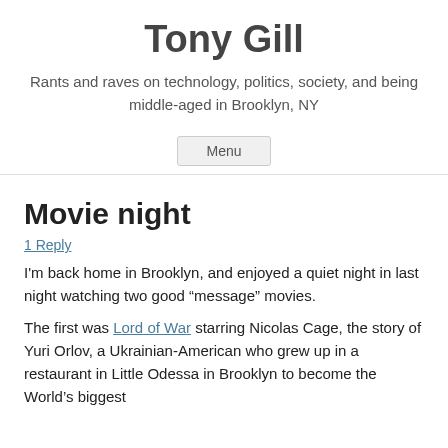Tony Gill
Rants and raves on technology, politics, society, and being middle-aged in Brooklyn, NY
Menu
Movie night
1 Reply
I'm back home in Brooklyn, and enjoyed a quiet night in last night watching two good “message” movies.
The first was Lord of War starring Nicolas Cage, the story of Yuri Orlov, a Ukrainian-American who grew up in a restaurant in Little Odessa in Brooklyn to become the World’s biggest